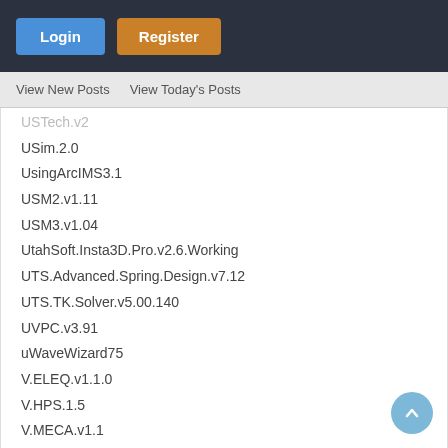Login | Register
View New Posts   View Today's Posts
USim.2.0
UsingArcIMS3.1
USM2.v1.11
USM3.v1.04
UtahSoft.Insta3D.Pro.v2.6.Working
UTS.Advanced.Spring.Design.v7.12
UTS.TK.Solver.v5.00.140
UVPC.v3.91
uWaveWizard75
V.ELEQ.v1.1.0
V.HPS.1.5
V.MECA.v1.1
V.Metrix.V2000
V.Planner.v3.43
V.Ray.3.05.03.for.Maya.2022◆?2015
V.stitcher.v4.8.full
V5.Fastener.Catalog.Inch.R1.SW